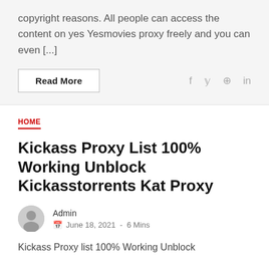copyright reasons. All people can access the content on yes Yesmovies proxy freely and you can even [...]
Read More
HOME
Kickass Proxy List 100% Working Unblock Kickasstorrents Kat Proxy
Admin
June 18, 2021  -  6 Mins
Kickass Proxy list 100% Working Unblock